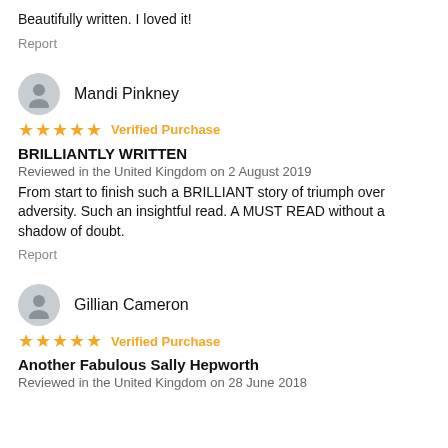Beautifully written. I loved it!
Report
Mandi Pinkney
★★★★★ Verified Purchase
BRILLIANTLY WRITTEN
Reviewed in the United Kingdom on 2 August 2019
From start to finish such a BRILLIANT story of triumph over adversity. Such an insightful read. A MUST READ without a shadow of doubt.
Report
Gillian Cameron
★★★★★ Verified Purchase
Another Fabulous Sally Hepworth
Reviewed in the United Kingdom on 28 June 2018